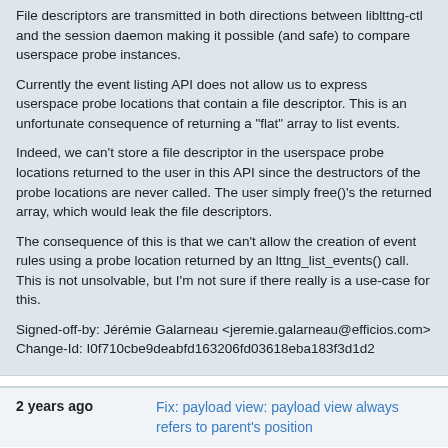File descriptors are transmitted in both directions between liblttng-ctl and the session daemon making it possible (and safe) to compare userspace probe instances.
Currently the event listing API does not allow us to express userspace probe locations that contain a file descriptor. This is an unfortunate consequence of returning a "flat" array to list events.
Indeed, we can't store a file descriptor in the userspace probe locations returned to the user in this API since the destructors of the probe locations are never called. The user simply free()'s the returned array, which would leak the file descriptors.
The consequence of this is that we can't allow the creation of event rules using a probe location returned by an lttng_list_events() call. This is not unsolvable, but I'm not sure if there really is a use-case for this.
Signed-off-by: Jérémie Galarneau <jeremie.galarneau@efficios.com>
Change-Id: I0f710cbe9deabfd163206fd03618eba183f3d1d2
2 years ago   Fix: payload view: payload view always refers to parent's position